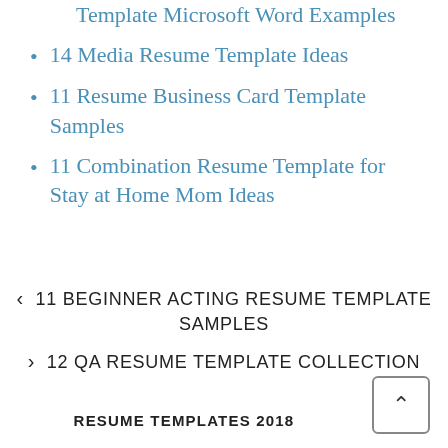8 Graduate School Resume Template Microsoft Word Examples
14 Media Resume Template Ideas
11 Resume Business Card Template Samples
11 Combination Resume Template for Stay at Home Mom Ideas
< 11 BEGINNER ACTING RESUME TEMPLATE SAMPLES
> 12 QA RESUME TEMPLATE COLLECTION
RESUME TEMPLATES 2018